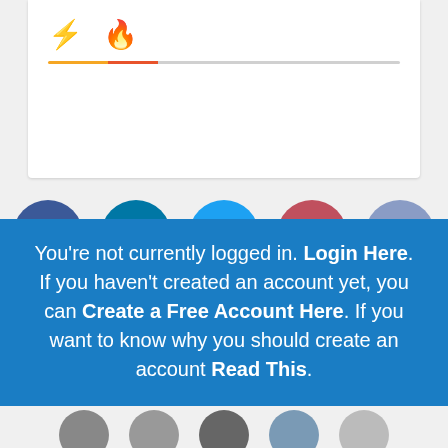[Figure (screenshot): Top card with bolt and fire emoji icons and colored tab underline]
[Figure (infographic): Row of five social media icon circles: Facebook, LinkedIn, Twitter, Pinterest, Reddit]
You can always put more Kool-Aid in a half
You're not currently logged in. Login Here. If you haven't created an account yet, you can Create a Free Account Here. If you want to know why you should create an account Read This.
[Figure (photo): Row of partially visible avatar circles at bottom of page]